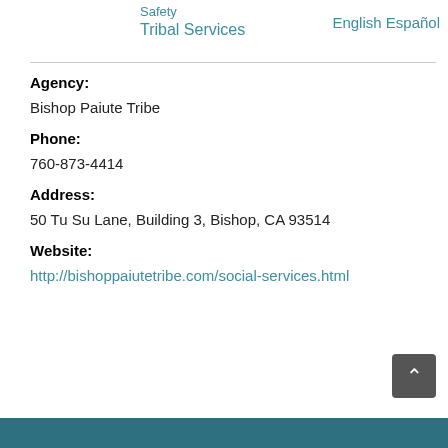Safety Tribal Services English Español
Agency:
Bishop Paiute Tribe
Phone:
760-873-4414
Address:
50 Tu Su Lane, Building 3, Bishop, CA 93514
Website:
http://bishoppaiutetribe.com/social-services.html